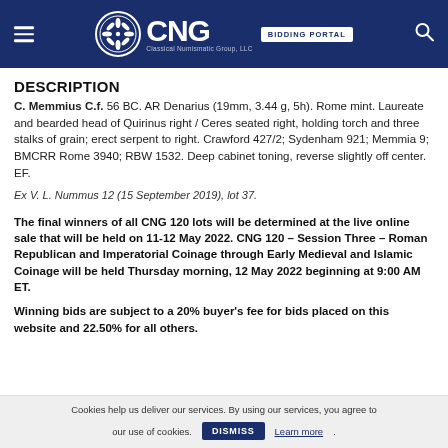CNG BIDDING PORTAL
DESCRIPTION
C. Memmius C.f. 56 BC. AR Denarius (19mm, 3.44 g, 5h). Rome mint. Laureate and bearded head of Quirinus right / Ceres seated right, holding torch and three stalks of grain; erect serpent to right. Crawford 427/2; Sydenham 921; Memmia 9; BMCRR Rome 3940; RBW 1532. Deep cabinet toning, reverse slightly off center. EF.
Ex V. L. Nummus 12 (15 September 2019), lot 37.
The final winners of all CNG 120 lots will be determined at the live online sale that will be held on 11-12 May 2022. CNG 120 – Session Three – Roman Republican and Imperatorial Coinage through Early Medieval and Islamic Coinage will be held Thursday morning, 12 May 2022 beginning at 9:00 AM ET.
Winning bids are subject to a 20% buyer's fee for bids placed on this website and 22.50% for all others.
Cookies help us deliver our services. By using our services, you agree to our use of cookies. DISMISS Learn more.